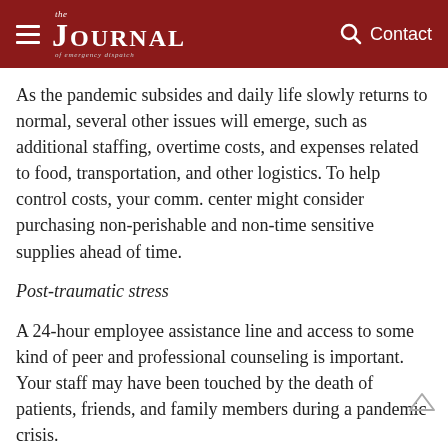the JOURNAL of emergency dispatch | Contact
As the pandemic subsides and daily life slowly returns to normal, several other issues will emerge, such as additional staffing, overtime costs, and expenses related to food, transportation, and other logistics. To help control costs, your comm. center might consider purchasing non-perishable and non-time sensitive supplies ahead of time.
Post-traumatic stress
A 24-hour employee assistance line and access to some kind of peer and professional counseling is important. Your staff may have been touched by the death of patients, friends, and family members during a pandemic crisis.
Protocol 36
The IAED™ initially released Protocol 36